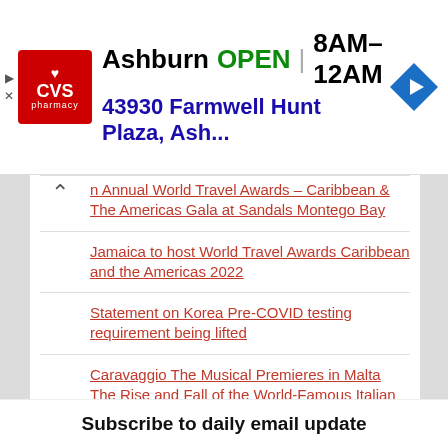[Figure (other): CVS Pharmacy advertisement banner showing Ashburn location, OPEN 8AM-12AM, address 43930 Farmwell Hunt Plaza, Ash... with navigation icon]
n Annual World Travel Awards – Caribbean & The Americas Gala at Sandals Montego Bay
Jamaica to host World Travel Awards Caribbean and the Americas 2022
Statement on Korea Pre-COVID testing requirement being lifted
Caravaggio The Musical Premieres in Malta The Rise and Fall of the World-Famous Italian Artist
Subscribe to daily email update